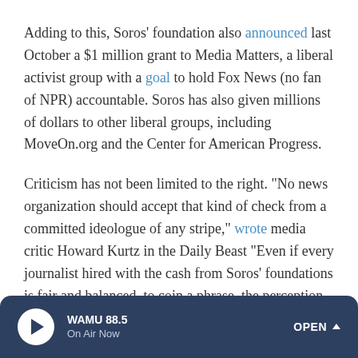Adding to this, Soros' foundation also announced last October a $1 million grant to Media Matters, a liberal activist group with a goal to hold Fox News (no fan of NPR) accountable. Soros has also given millions of dollars to other liberal groups, including MoveOn.org and the Center for American Progress.
Criticism has not been limited to the right. "No news organization should accept that kind of check from a committed ideologue of any stripe," wrote media critic Howard Kurtz in the Daily Beast "Even if every journalist hired with the cash from Soros' foundations is fair and balanced, to coin a phrase, the perception is terrible."
WAMU 88.5 On Air Now OPEN